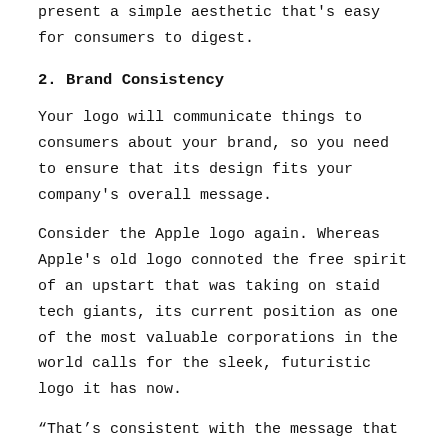present a simple aesthetic that's easy for consumers to digest.
2. Brand Consistency
Your logo will communicate things to consumers about your brand, so you need to ensure that its design fits your company's overall message.
Consider the Apple logo again. Whereas Apple's old logo connoted the free spirit of an upstart that was taking on staid tech giants, its current position as one of the most valuable corporations in the world calls for the sleek, futuristic logo it has now.
“That’s consistent with the message that Apple wants to suggest: We are technology, but we’re friendly technology, we’re easy-to-use technology,” Berger says. If you’re starting a new company, Berger says, you should